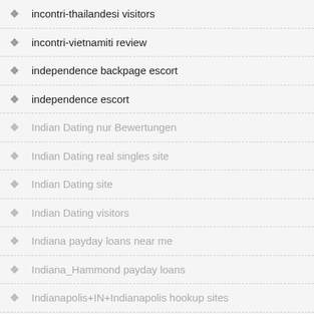incontri-thailandesi visitors
incontri-vietnamiti review
independence backpage escort
independence escort
Indian Dating nur Bewertungen
Indian Dating real singles site
Indian Dating site
Indian Dating visitors
Indiana payday loans near me
Indiana_Hammond payday loans
Indianapolis+IN+Indianapolis hookup sites
Indianapolis+IN+Indianapolis resource